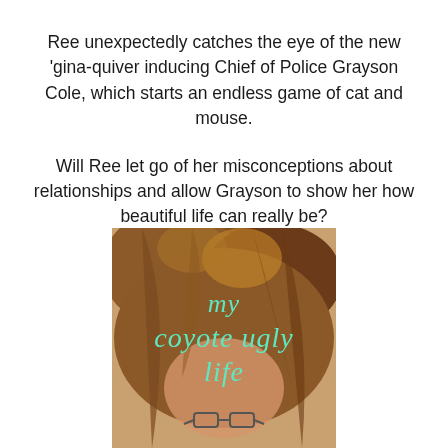Ree unexpectedly catches the eye of the new 'gina-quiver inducing Chief of Police Grayson Cole, which starts an endless game of cat and mouse.
Will Ree let go of her misconceptions about relationships and allow Grayson to show her how beautiful life can really be?
[Figure (illustration): Book cover for 'my coyote ugly life' showing a close-up of a woman with long auburn/brown hair partially covering her face, wearing glasses. The title is written in mint/teal cursive script overlaid on the image.]